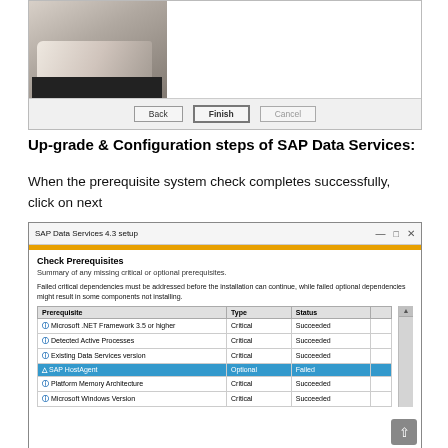[Figure (screenshot): Bottom portion of a setup wizard dialog showing a photograph of hands writing, with Back, Finish and Cancel buttons at the bottom]
Up-grade & Configuration steps of SAP Data Services:
When the prerequisite system check completes successfully, click on next
[Figure (screenshot): SAP Data Services 4.3 setup dialog showing Check Prerequisites screen with a table listing prerequisites: Microsoft .NET Framework 3.5 or higher (Critical, Succeeded), Detected Active Processes (Critical, Succeeded), Existing Data Services version (Critical, Succeeded), SAP HostAgent (Optional, Failed - highlighted in blue), Platform Memory Architecture (Critical, Succeeded), Microsoft Windows Version (Critical, Succeeded)]